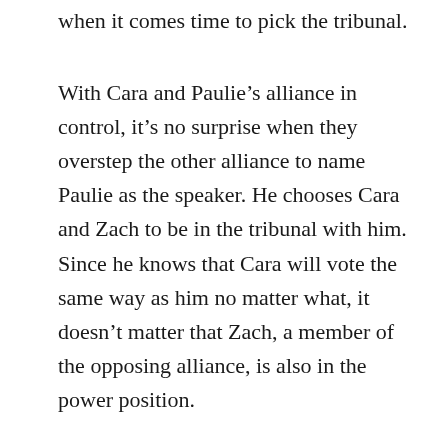when it comes time to pick the tribunal.
With Cara and Paulie’s alliance in control, it’s no surprise when they overstep the other alliance to name Paulie as the speaker. He chooses Cara and Zach to be in the tribunal with him. Since he knows that Cara will vote the same way as him no matter what, it doesn’t matter that Zach, a member of the opposing alliance, is also in the power position.
At the nominations, Theo knows he really has no hope. Rogan, Joss and C.T. are all working together, along with the majority of the team. So, even though Theo is one of the strongest guys on the show — and has